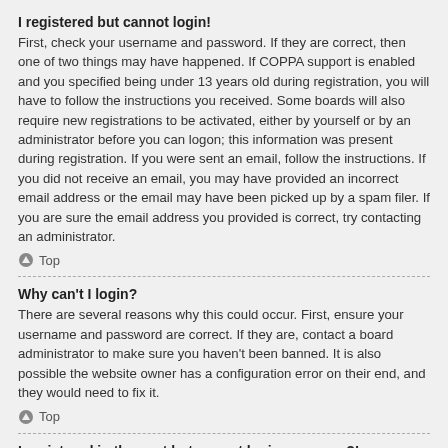I registered but cannot login!
First, check your username and password. If they are correct, then one of two things may have happened. If COPPA support is enabled and you specified being under 13 years old during registration, you will have to follow the instructions you received. Some boards will also require new registrations to be activated, either by yourself or by an administrator before you can logon; this information was present during registration. If you were sent an email, follow the instructions. If you did not receive an email, you may have provided an incorrect email address or the email may have been picked up by a spam filer. If you are sure the email address you provided is correct, try contacting an administrator.
▲ Top
Why can't I login?
There are several reasons why this could occur. First, ensure your username and password are correct. If they are, contact a board administrator to make sure you haven't been banned. It is also possible the website owner has a configuration error on their end, and they would need to fix it.
▲ Top
I registered in the past but cannot login any more?!
It is possible an administrator has deactivated or deleted your account for some reason. Also, many boards periodically remove users who have not